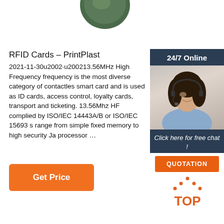[Figure (photo): Partial product image at top center - dark green rounded object]
RFID Cards – PrintPlast
2021-11-30u2002·u200213.56MHz High Frequency frequency is the most diverse category of contactless smart card and is used as ID cards, access control, loyalty cards, transport and ticketing. 13.56Mhz HF complied by ISO/IEC 14443A/B or ISO/IEC 15693 s range from simple fixed memory to high security Ja processor …
[Figure (photo): 24/7 Online chat widget showing a smiling woman with headset]
Get Price
[Figure (logo): Orange TOP logo with dotted triangle above the text]